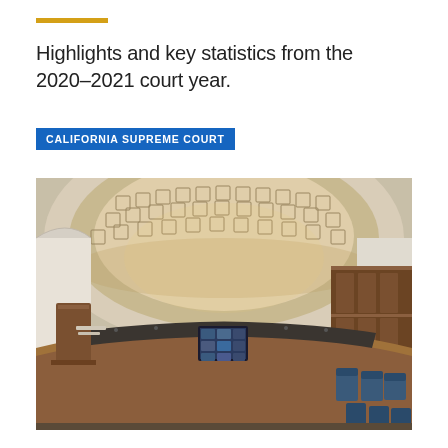Highlights and key statistics from the 2020–2021 court year.
CALIFORNIA SUPREME COURT
[Figure (photo): Interior of the California Supreme Court courtroom showing the ornate coffered dome ceiling, curved judicial bench in wood, blue chairs for gallery/counsel, and a video conference screen displaying remote participants.]